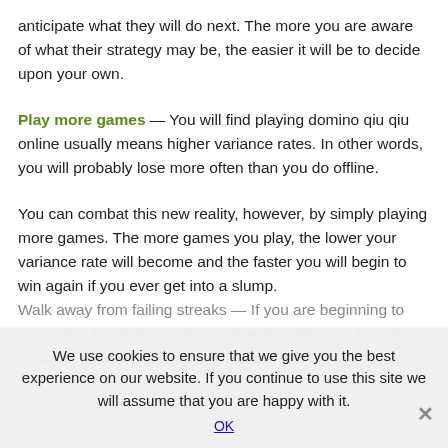anticipate what they will do next. The more you are aware of what their strategy may be, the easier it will be to decide upon your own.
Play more games — You will find playing domino qiu qiu online usually means higher variance rates. In other words, you will probably lose more often than you do offline.
You can combat this new reality, however, by simply playing more games. The more games you play, the lower your variance rate will become and the faster you will begin to win again if you ever get into a slump.
Walk away from failing streaks — If you are beginning to lose every hand, however, it is time to walk away from the casino and play again when your luck has changed.
We use cookies to ensure that we give you the best experience on our website. If you continue to use this site we will assume that you are happy with it.